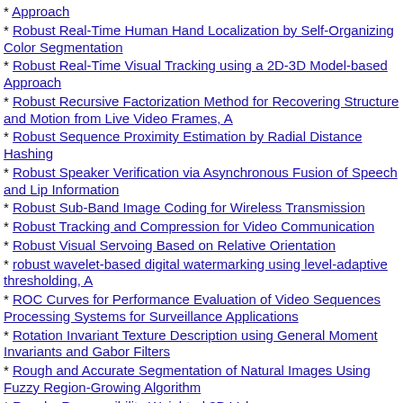Approach
Robust Real-Time Human Hand Localization by Self-Organizing Color Segmentation
Robust Real-Time Visual Tracking using a 2D-3D Model-based Approach
Robust Recursive Factorization Method for Recovering Structure and Motion from Live Video Frames, A
Robust Sequence Proximity Estimation by Radial Distance Hashing
Robust Speaker Verification via Asynchronous Fusion of Speech and Lip Information
Robust Sub-Band Image Coding for Wireless Transmission
Robust Tracking and Compression for Video Communication
Robust Visual Servoing Based on Relative Orientation
robust wavelet-based digital watermarking using level-adaptive thresholding, A
ROC Curves for Performance Evaluation of Video Sequences Processing Systems for Surveillance Applications
Rotation Invariant Texture Description using General Moment Invariants and Gabor Filters
Rough and Accurate Segmentation of Natural Images Using Fuzzy Region-Growing Algorithm
Roxels: Responsibility Weighted 3D Volume